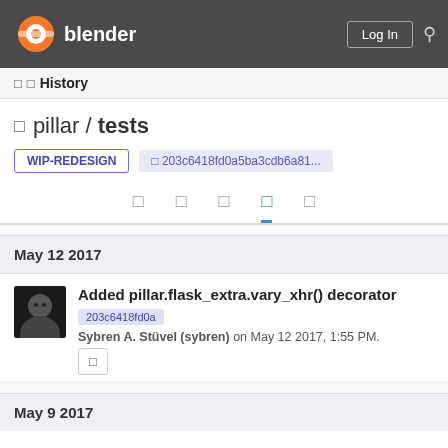Blender — Log In
□ □ History
□ pillar / tests
WIP-REDESIGN   □ 203c6418fd0a5ba3cdb6a81...
□ □ □ □ □ (tabs)
May 12 2017
Added pillar.flask_extra.vary_xhr() decorator
203c6418fd0a
Sybren A. Stüvel (sybren) on May 12 2017, 1:55 PM.
May 9 2017